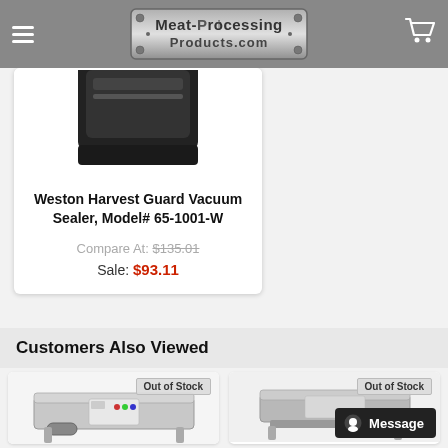Meat-Processing Products.com
[Figure (screenshot): Vacuum sealer product image (partial, top cropped) - black vacuum sealer lid visible]
Weston Harvest Guard Vacuum Sealer, Model# 65-1001-W
Compare At: $135.01
Sale: $93.11
Customers Also Viewed
[Figure (photo): Vacuum sealer machine - stainless steel commercial vacuum sealer, Out of Stock badge]
[Figure (photo): Another vacuum sealer or meat processing product, Out of Stock badge, Message button overlay visible]